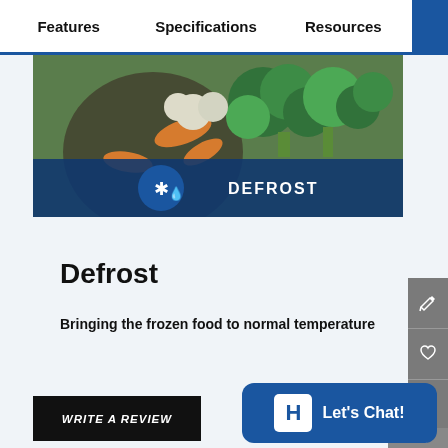Features  Specifications  Resources
[Figure (photo): Photo of frozen vegetables including broccoli and carrots with a defrost mode overlay banner showing a snowflake/droplet icon and the text DEFROST]
Defrost
Bringing the frozen food to normal temperature
WRITE A REVIEW
Let's Chat!